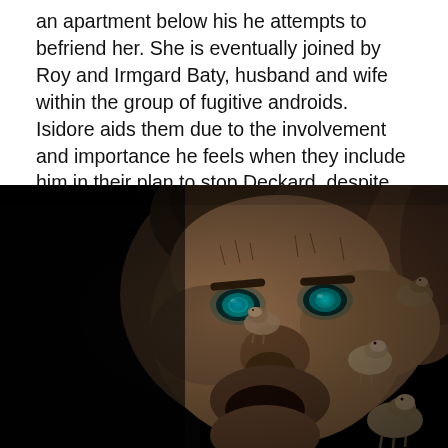an apartment below his he attempts to befriend her. She is eventually joined by Roy and Irmgard Baty, husband and wife within the group of fugitive androids. Isidore aids them due to the involvement and importance he feels when they include him in their plan to stop Deckard, despite treating him with as little respect as other humans do.
[Figure (photo): A dark, artistic composite photo showing a man's face looking upward with glowing teal/blue eyes, overlaid or blended with the texture and imagery of sheep/animals against a black background. The face and fur/wool textures are merged together in a surreal double-exposure style.]